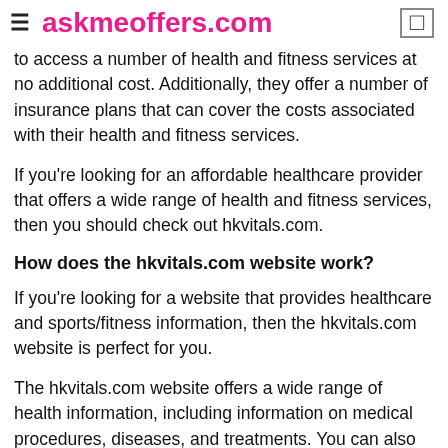askmeoffers.com
to access a number of health and fitness services at no additional cost. Additionally, they offer a number of insurance plans that can cover the costs associated with their health and fitness services.
If you're looking for an affordable healthcare provider that offers a wide range of health and fitness services, then you should check out hkvitals.com.
How does the hkvitals.com website work?
If you're looking for a website that provides healthcare and sports/fitness information, then the hkvitals.com website is perfect for you.
The hkvitals.com website offers a wide range of health information, including information on medical procedures, diseases, and treatments. You can also find information on sports and fitness topics, including exercises and nutrition advice.